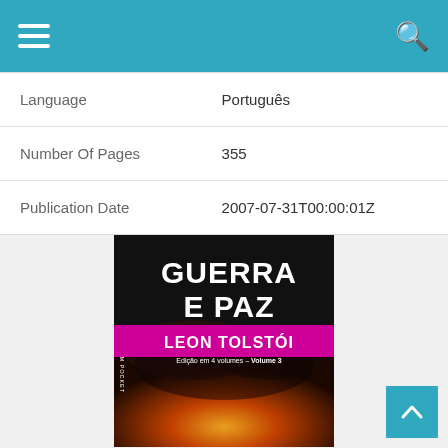Navigation bar with menu and search icons
| Field | Value |
| --- | --- |
| Language | Português |
| Number Of Pages | 355 |
| Publication Date | 2007-07-31T00:00:01Z |
[Figure (illustration): Book cover of Guerra e Paz (War and Peace) by Leon Tolstói, L&PM Pocket edition, Volume 3 in 4 volumes. Black background with large white bold text 'GUERRA E PAZ', magenta/pink banner with bold white text 'LEON TOLSTÓI', subtitle 'Edição em 4 volumes – Volume 3'. Lower portion shows a dramatic fiery/smoky landscape image.]